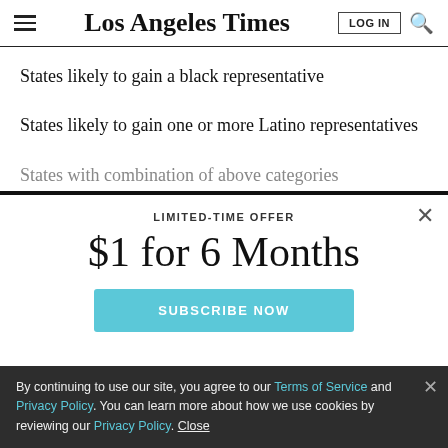Los Angeles Times
States likely to gain a black representative
States likely to gain one or more Latino representatives
States with combination of above categories
LIMITED-TIME OFFER
$1 for 6 Months
SUBSCRIBE NOW
By continuing to use our site, you agree to our Terms of Service and Privacy Policy. You can learn more about how we use cookies by reviewing our Privacy Policy. Close